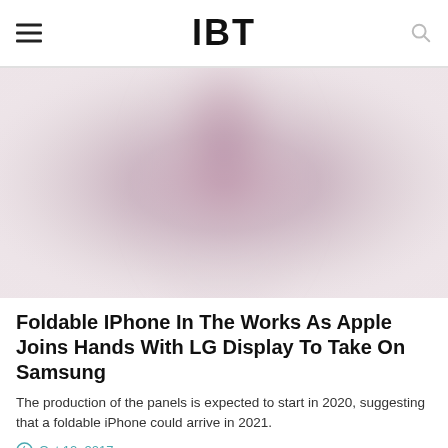IBT
[Figure (photo): Blurred/abstract image of a smartphone or device with a pinkish-purple gradient, likely representing a foldable phone concept.]
Foldable IPhone In The Works As Apple Joins Hands With LG Display To Take On Samsung
The production of the panels is expected to start in 2020, suggesting that a foldable iPhone could arrive in 2021.
Oct 12, 2017